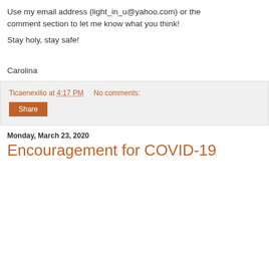Use my email address (light_in_u@yahoo.com) or the comment section to let me know what you think!
Stay holy, stay safe!
Carolina
Ticaenexilio at 4:17 PM    No comments:
Share
Monday, March 23, 2020
Encouragement for COVID-19